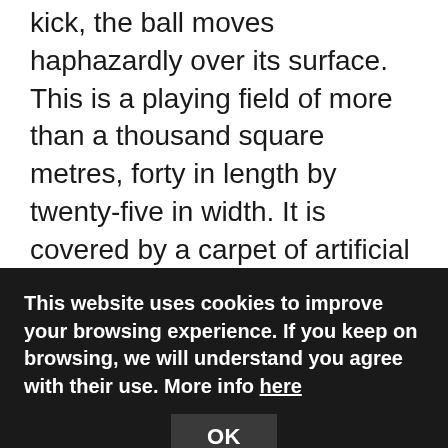kick, the ball moves haphazardly over its surface. This is a playing field of more than a thousand square metres, forty in length by twenty-five in width. It is covered by a carpet of artificial grass laid on a base of granulated rubber and gravel forming an irregular surface of hollows and hummocks of different heights.
This website uses cookies to improve your browsing experience. If you keep on browsing, we will understand you agree with their use. More info here
OK